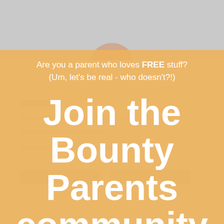[Figure (photo): Background photo of a baby/child, partially visible, with a light gray blurred background and a form overlay below. Orange semi-transparent overlay covers most of the lower portion of the image.]
Are you a parent who loves FREE stuff? (Um, let's be real - who doesn't?!)
Join the Bounty Parents community and be rewarded!